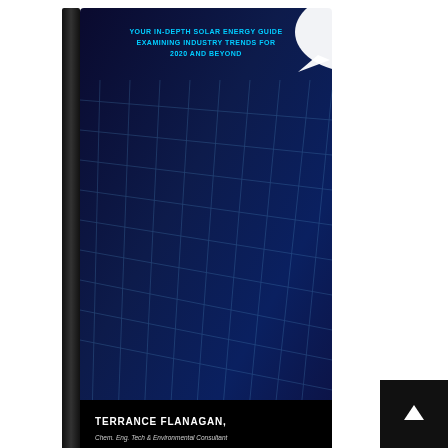[Figure (illustration): A 3D book cover for a solar energy guide by Terrance Flanagan, Chem. Eng. Tech & Environmental Consultant. The book has a dark blue cover with a grid pattern of solar panels and text reading 'YOUR IN-DEPTH SOLAR ENERGY GUIDE EXAMINING INDUSTRY TRENDS FOR 2020 AND BEYOND'. A white speech bubble appears in the top right. The author name is shown at the bottom of the cover.]
Request your free copy today!!
How often does a battery need to be calibrated?
You should calibrate your lithium-ion battery when been sitting for a long time. To calibrate it, you mu discharge the battery to 5% capacity and recharge it to